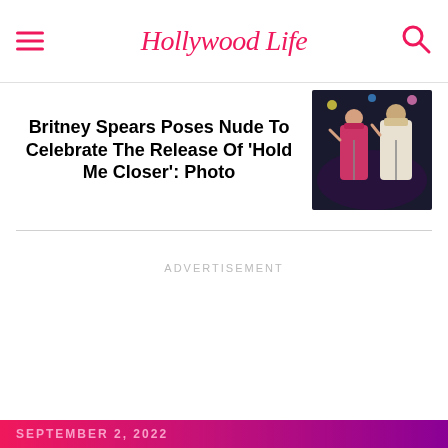Hollywood Life
Britney Spears Poses Nude To Celebrate The Release Of ‘Hold Me Closer’: Photo
[Figure (photo): Photo of Britney Spears and Elton John on stage together]
ADVERTISEMENT
SEPTEMBER 2, 2022